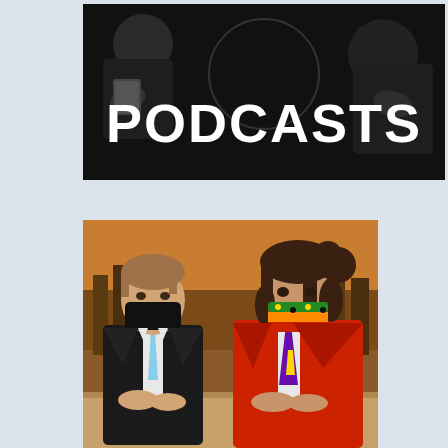[Figure (photo): Black and white promotional image with large bold white text reading 'PODCASTS' overlaid on a dark background showing people, merchandise or books visible in the scene]
[Figure (photo): Two young men wearing face masks seated at a table. The man on the left wears a black suit with a light blue tie and a black face mask. The man on the right wears a red suit jacket with a colorful purple and yellow tie and a multicolored patterned face mask. Background shows a city skyline backdrop with warm orange lighting.]